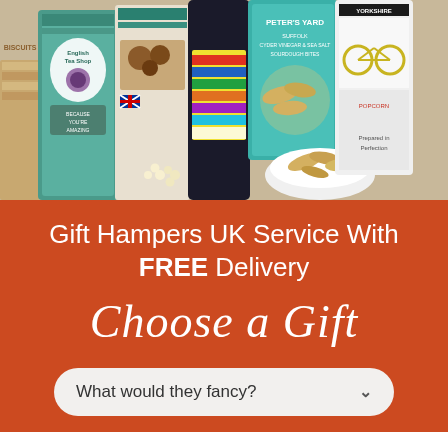[Figure (photo): Product photo showing various gift hamper items: English Tea Shop organic tea tin with 'Because You're Amazing' label, a chocolate biscuits tin, a bottle of artisan alcohol with colorful label, Peter's Yard Suffolk Cyder Vinegar & Sea Salt Sourdough Bites chips, a bowl of chips, Yorkshire Popcorn bag, and crackers.]
Gift Hampers UK Service With FREE Delivery
Choose a Gift
What would they fancy?